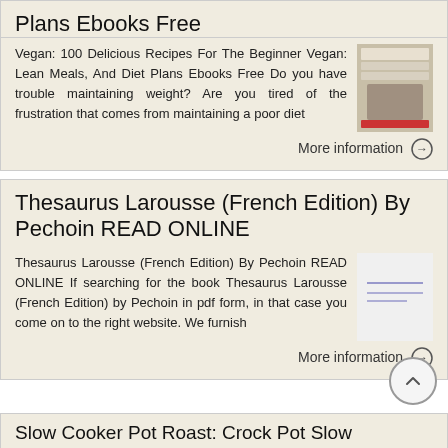Plans Ebooks Free
Vegan: 100 Delicious Recipes For The Beginner Vegan: Lean Meals, And Diet Plans Ebooks Free Do you have trouble maintaining weight? Are you tired of the frustration that comes from maintaining a poor diet
More information →
Thesaurus Larousse (French Edition) By Pechoin READ ONLINE
Thesaurus Larousse (French Edition) By Pechoin READ ONLINE If searching for the book Thesaurus Larousse (French Edition) by Pechoin in pdf form, in that case you come on to the right website. We furnish
More information →
Slow Cooker Pot Roast: Crock Pot Slow